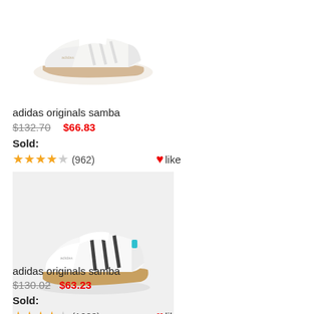[Figure (photo): White Adidas Originals Samba sneaker on white background, side view showing three stripes and gum sole]
adidas originals samba
$132.70  $66.83
Sold:
★★★★☆ (962)   ❤like
[Figure (photo): White/black Adidas Originals Samba sneakers pair on grey background, three black stripes and gum sole]
adidas originals samba
$130.02  $63.23
Sold:
★★★★☆ (1083)   ❤like